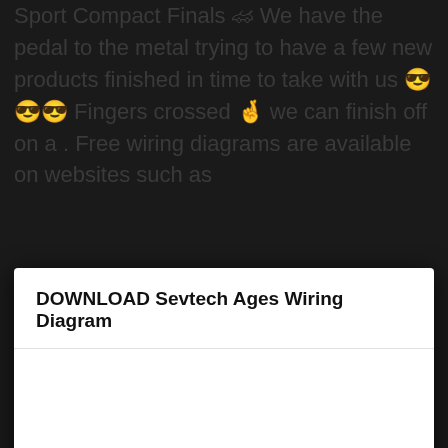Sport Compact Finals 🏎 We have the pedal to the metal trying to have a few new products finished in time to take with us 😎😎😎 Fingers crossed 🤞 we can finish off on a . Free wiring diagrams are available on websites such as
DOWNLOAD Sevtech Ages Wiring Diagram
Close   DOWNLOAD
to Centech Wiring Inc Online ordering is now available!
Browse our online catalog or search for a specific product using the tools on the left.